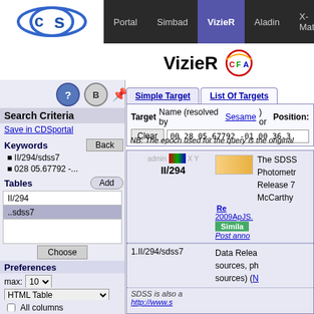Portal | Simbad | VizieR | Aladin | X-Match | Other
VizieR CFA
Search Criteria
Save in CDSportal
Keywords
II/294/sdss7
028 05.67792 -...
Tables
II/294
..sdss7
Preferences
max: 10
HTML Table
All columns
Compute
Distance p
Simple Target | List Of Targets
Target Name (resolved by Sesame) or Position:
Clear  00 28 05.67792 -01 00 36.3
NB: The epoch used for the query is the original
The SDSS Photometric Release 7 McCarthy Re 2009ApJS... Simila Post anno
1.II/294/sdss7  Data Release sources, ph sources) (N SDSS is also a http://www.s